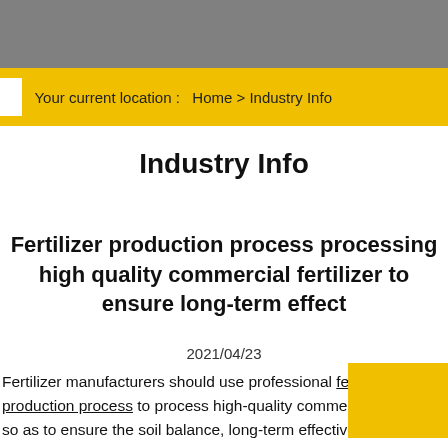Your current location :   Home > Industry Info
Industry Info
Fertilizer production process processing high quality commercial fertilizer to ensure long-term effect
2021/04/23
Fertilizer manufacturers should use professional fertilizer production process to process high-quality commercial fertilizer, so as to ensure the soil balance, long-term effectiveness of fertilizer, suitable for crop growth. In order to meet the "fast effect" of the farm, many illegal fertilizer